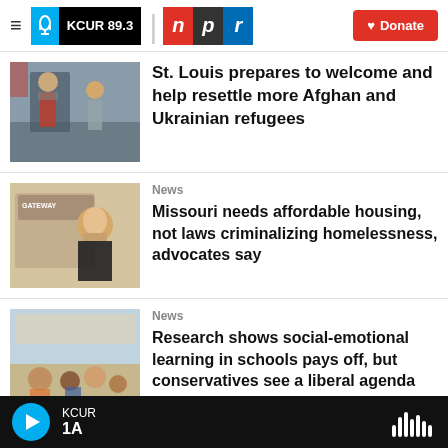KCUR 89.3 | npr | Donate
[Figure (photo): Photo of a man speaking at a podium with another person standing behind]
St. Louis prepares to welcome and help resettle more Afghan and Ukrainian refugees
[Figure (photo): Photo of a woman with blonde hair in front of a Gateway storefront backdrop]
News
Missouri needs affordable housing, not laws criminalizing homelessness, advocates say
[Figure (photo): Photo of children sitting on a classroom floor]
News
Research shows social-emotional learning in schools pays off, but conservatives see a liberal agenda
KCUR 1A